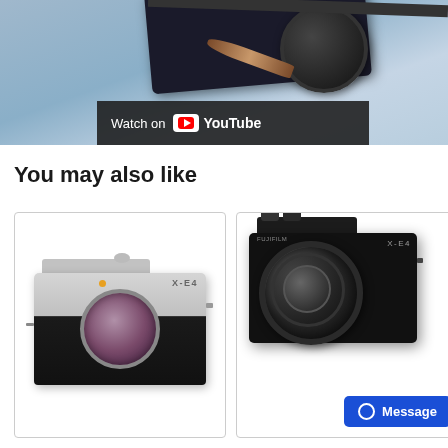[Figure (screenshot): Top portion of a product page showing a camera on a blue surface with a 'Watch on YouTube' overlay bar]
You may also like
[Figure (photo): Fujifilm X-E4 mirrorless camera body in silver/black, no lens attached, showing sensor mount]
[Figure (photo): Fujifilm X-E4 mirrorless camera in black with lens attached, shown at an angle]
Message